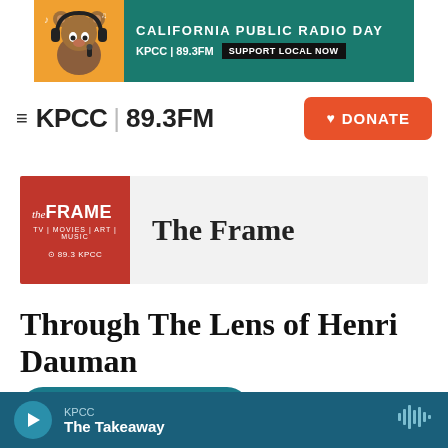[Figure (illustration): KPCC 89.3FM California Public Radio Day banner ad with cartoon bear wearing headphones on orange background, teal background with text 'CALIFORNIA PUBLIC RADIO DAY', 'KPCC 89.3FM', 'SUPPORT LOCAL NOW']
≡ KPCC 89.3FM
[Figure (logo): KPCC Donate button - orange rounded rectangle with heart icon and 'DONATE' text]
[Figure (logo): The Frame show logo - red square with 'the FRAME' text, 'TV | MOVIES | ART | MUSIC', '89.3 KPCC']
The Frame
Through The Lens of Henri Dauman
[Figure (other): Listen button - teal rounded rectangle with play triangle and text 'LISTEN • 25:51']
KPCC The Takeaway